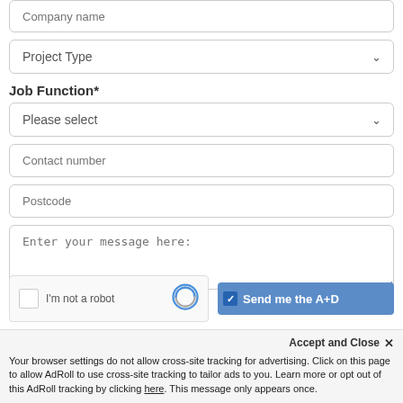Company name
Project Type
Job Function*
Please select
Contact number
Postcode
Enter your message here:
I'm not a robot
Send me the A+D
Accept and Close ✕
Your browser settings do not allow cross-site tracking for advertising. Click on this page to allow AdRoll to use cross-site tracking to tailor ads to you. Learn more or opt out of this AdRoll tracking by clicking here. This message only appears once.